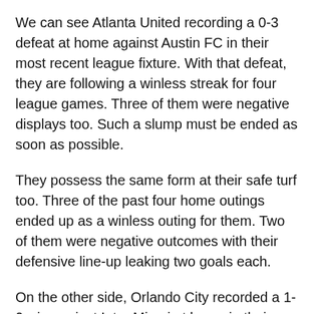We can see Atlanta United recording a 0-3 defeat at home against Austin FC in their most recent league fixture. With that defeat, they are following a winless streak for four league games. Three of them were negative displays too. Such a slump must be ended as soon as possible.
They possess the same form at their safe turf too. Three of the past four home outings ended up as a winless outing for them. Two of them were negative outcomes with their defensive line-up leaking two goals each.
On the other side, Orlando City recorded a 1-0 win against Inter Miami at home in their most recent league fixture. They were on the back of two winless games before recording the above win in the league. Therefore, they will be hoping to make that win count.